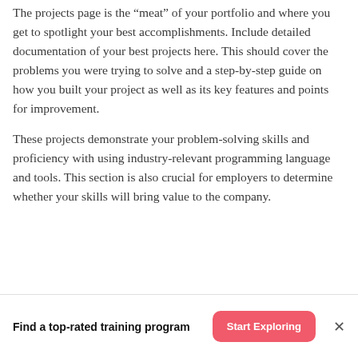The projects page is the “meat” of your portfolio and where you get to spotlight your best accomplishments. Include detailed documentation of your best projects here. This should cover the problems you were trying to solve and a step-by-step guide on how you built your project as well as its key features and points for improvement.
These projects demonstrate your problem-solving skills and proficiency with using industry-relevant programming language and tools. This section is also crucial for employers to determine whether your skills will bring value to the company.
Find a top-rated training program
Start Exploring